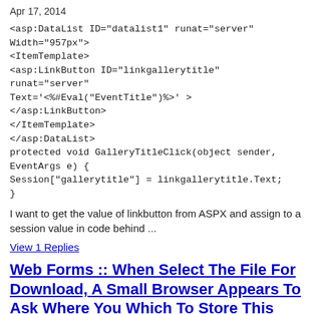Apr 17, 2014
<asp:DataList ID="datalist1" runat="server" Width="957px">
<ItemTemplate>
<asp:LinkButton ID="linkgallerytitle" runat="server"
Text='<%#Eval("EventTitle")%>' OnClick="GalleryTitleClick" >
</asp:LinkButton>
</ItemTemplate>
</asp:DataList>
protected void GalleryTitleClick(object sender, EventArgs e) {
Session["gallerytitle"] = linkgallerytitle.Text;
}
I want to get the value of linkbutton from ASPX and assign to a session value in code behind ...
View 1 Replies
Web Forms :: When Select The File For Download, A Small Browser Appears To Ask Where You Which To Store This Data To?
Jun 17, 2011